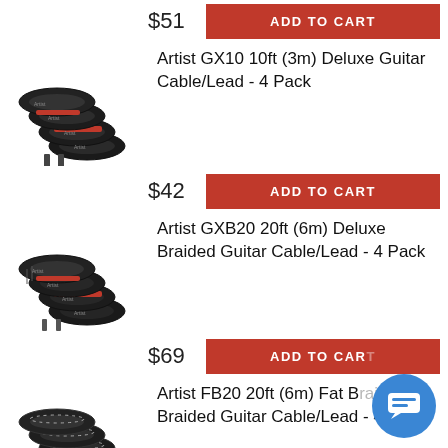$51
ADD TO CART
[Figure (photo): Artist GX10 guitar cables - 4 pack, black with red accent, coiled]
Artist GX10 10ft (3m) Deluxe Guitar Cable/Lead - 4 Pack
$42
ADD TO CART
[Figure (photo): Artist GXB20 braided guitar cables - 4 pack, black braided with red accent, coiled]
Artist GXB20 20ft (6m) Deluxe Braided Guitar Cable/Lead - 4 Pack
$69
ADD TO CART
[Figure (photo): Artist FB20 fat braided guitar cables - 4 pack, black and white braided, coiled]
Artist FB20 20ft (6m) Fat Braided Guitar Cable/Lead - 4 Pack